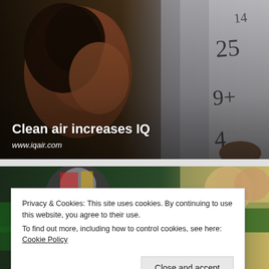[Figure (photo): A young Black girl with braided hair looking upward thoughtfully, in front of a whiteboard with math numbers (14, 25, 9+, 4) written on it.]
Clean air increases IQ
www.iqair.com
[Figure (photo): A partially visible photo of people in what appears to be a conference or meeting room with green tables.]
Privacy & Cookies: This site uses cookies. By continuing to use this website, you agree to their use.
To find out more, including how to control cookies, see here: Cookie Policy
Close and accept